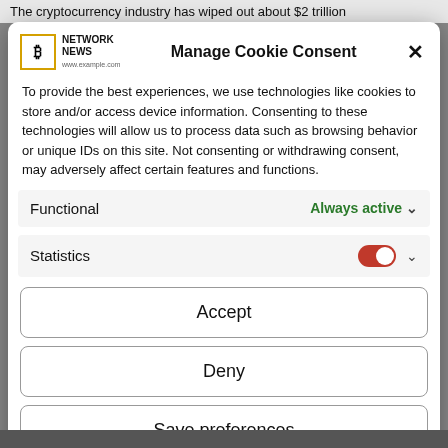The cryptocurrency industry has wiped out about $2 trillion
Manage Cookie Consent
To provide the best experiences, we use technologies like cookies to store and/or access device information. Consenting to these technologies will allow us to process data such as browsing behavior or unique IDs on this site. Not consenting or withdrawing consent, may adversely affect certain features and functions.
Functional
Always active
Statistics
Accept
Deny
Save preferences
Cookie Policy   Information on the processing of personal data